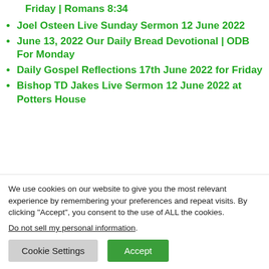Friday | Romans 8:34
Joel Osteen Live Sunday Sermon 12 June 2022
June 13, 2022 Our Daily Bread Devotional | ODB For Monday
Daily Gospel Reflections 17th June 2022 for Friday
Bishop TD Jakes Live Sermon 12 June 2022 at Potters House
We use cookies on our website to give you the most relevant experience by remembering your preferences and repeat visits. By clicking “Accept”, you consent to the use of ALL the cookies.
Do not sell my personal information.